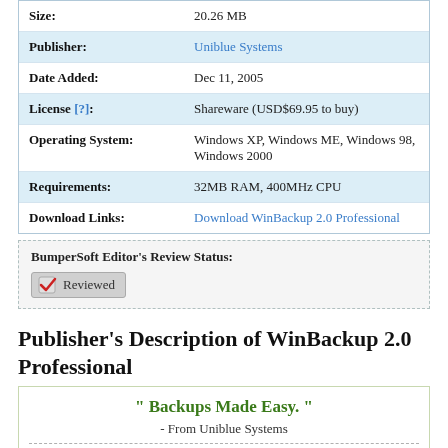| Size: | 20.26 MB |
| Publisher: | Uniblue Systems |
| Date Added: | Dec 11, 2005 |
| License [?]: | Shareware (USD$69.95 to buy) |
| Operating System: | Windows XP, Windows ME, Windows 98, Windows 2000 |
| Requirements: | 32MB RAM, 400MHz CPU |
| Download Links: | Download WinBackup 2.0 Professional |
BumperSoft Editor's Review Status: Reviewed
Publisher's Description of WinBackup 2.0 Professional
" Backups Made Easy. " - From Uniblue Systems
WinBackup 2.0 Professional drives business continuity to the next level for small and medium